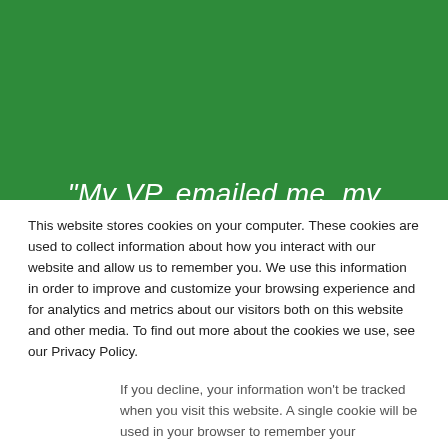[Figure (screenshot): Green banner background with partial italic quote text reading: "My VP..emailed me, my]
This website stores cookies on your computer. These cookies are used to collect information about how you interact with our website and allow us to remember you. We use this information in order to improve and customize your browsing experience and for analytics and metrics about our visitors both on this website and other media. To find out more about the cookies we use, see our Privacy Policy.
If you decline, your information won't be tracked when you visit this website. A single cookie will be used in your browser to remember your preference not to be tracked.
Accept
Decline